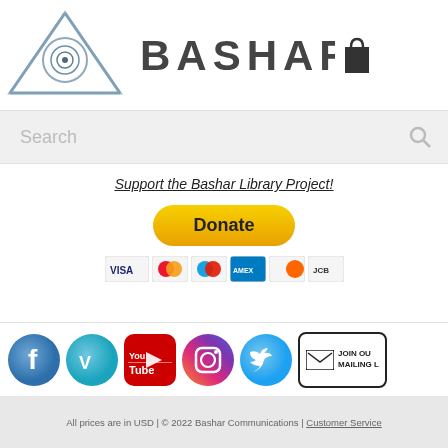[Figure (logo): Bashar Communications logo with triangle/eye symbol and BASHAR text, plus shopping bag icon]
[Figure (screenshot): Search bar with placeholder text 'Search' and magnifying glass icon]
Support the Bashar Library Project!
[Figure (infographic): PayPal Donate button with payment card icons (Visa, Mastercard, etc.)]
[Figure (infographic): Social media icons: Facebook, Vimeo, YouTube, Instagram, Twitter, and Join Our Mailing List button]
All prices are in USD | © 2022 Bashar Communications | Customer Service